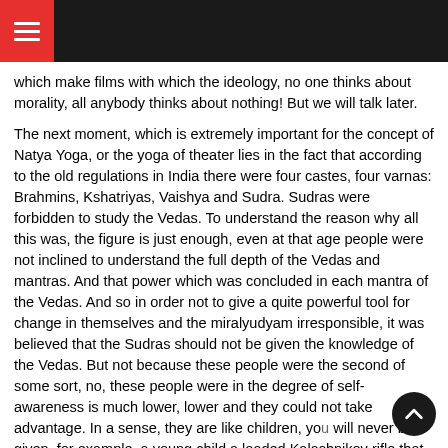which make films with which the ideology, no one thinks about morality, all anybody thinks about nothing! But we will talk later.
The next moment, which is extremely important for the concept of Natya Yoga, or the yoga of theater lies in the fact that according to the old regulations in India there were four castes, four varnas: Brahmins, Kshatriyas, Vaishya and Sudra. Sudras were forbidden to study the Vedas. To understand the reason why all this was, the figure is just enough, even at that age people were not inclined to understand the full depth of the Vedas and mantras. And that power which was concluded in each mantra of the Vedas. And so in order not to give a quite powerful tool for change in themselves and the miralyudyam irresponsible, it was believed that the Sudras should not be given the knowledge of the Vedas. But not because these people were the second of some sort, no, these people were in the degree of self-awareness is much lower, lower and they could not take advantage. In a sense, they are like children, you will never be given, for example, a young child a loaded Kalashnikov rifle that he nimigral. You will not give him a hand grenade, that with it he once entertained, it can cause harm to themselves and others. It is for this reason was limited access to the Sudras ancient Vedic knowledge.